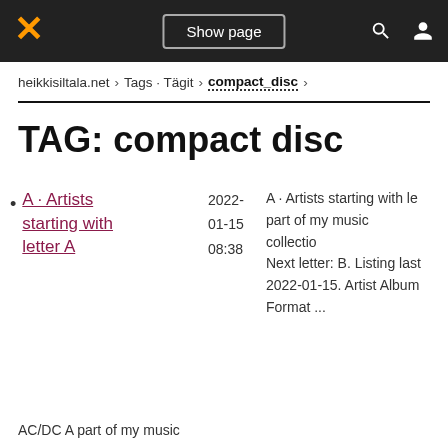Show page
heikkisiltala.net > Tags · Tägit > compact_disc >
TAG: compact disc
A · Artists starting with letter A
2022-01-15 08:38
A · Artists starting with letter A part of my music collection. Next letter: B. Listing last 2022-01-15. Artist Album Format ...
AC/DC A part of my music